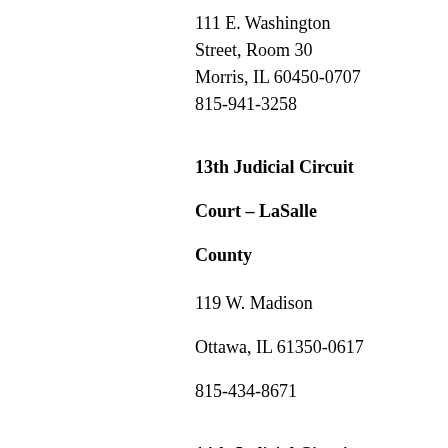111 E. Washington Street, Room 30
Morris, IL 60450-0707
815-941-3258
13th Judicial Circuit Court – LaSalle County
119 W. Madison
Ottawa, IL 61350-0617
815-434-8671
14th Judicial Circuit Court – Henry County
307 West Center